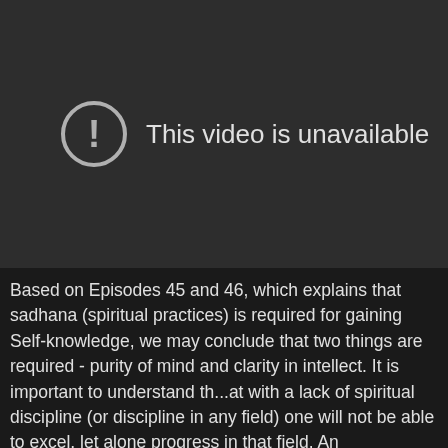[Figure (screenshot): Video unavailable placeholder — dark grey background with a circular exclamation mark icon and the text 'This video is unavailable']
Based on Episodes 45 and 46, which explains that sadhana (spiritual practices) is required for gaining Self-knowledge, we may conclude that two things are required - purity of mind and clarity in intellect. It is important to understand th...at with a lack of spiritual discipline (or discipline in any field) one will not be able to excel, let alone progress in that field. An undisciplined mind drives the individual to the field of sense objects so that it is never available for the Higher. But as one develops restraint over ones senses, one can 'call...